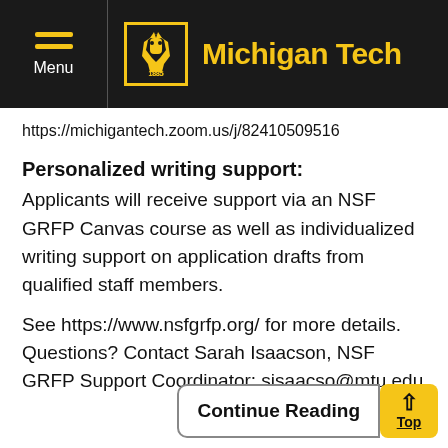Michigan Tech
https://michigantech.zoom.us/j/82410509516
Personalized writing support:
Applicants will receive support via an NSF GRFP Canvas course as well as individualized writing support on application drafts from qualified staff members.
See https://www.nsfgrfp.org/ for more details. Questions? Contact Sarah Isaacson, NSF GRFP Support Coordinator: sisaacso@mtu.edu
Continue Reading
Top